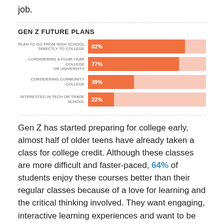job.
[Figure (bar-chart): GEN Z FUTURE PLANS]
Gen Z has started preparing for college early, almost half of older teens have already taken a class for college credit. Although these classes are more difficult and faster-paced, 64% of students enjoy these courses better than their regular classes because of a love for learning and the critical thinking involved. They want engaging, interactive learning experiences and want to be challenged and empowered to make their own decisions. Gen Zers value face to face interaction and collaboration and learn best